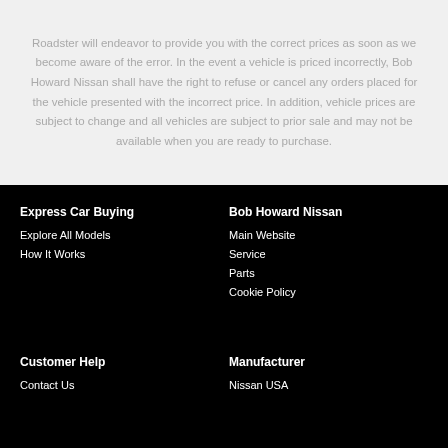Roadster will endeavor to provide you with the correct prices as soon as we become aware of the error. In the event a vehicle is priced incorrectly, Bob Howard Nissan shall have the right to refuse or cancel any orders placed for the vehicle presented with the incorrect price. In addition, vehicle prices are subject to change and all vehicles are subject to prior sale and may not be available when you are ready to purchase.
Express Car Buying
Explore All Models
How It Works
Bob Howard Nissan
Main Website
Service
Parts
Cookie Policy
Customer Help
Contact Us
Manufacturer
Nissan USA